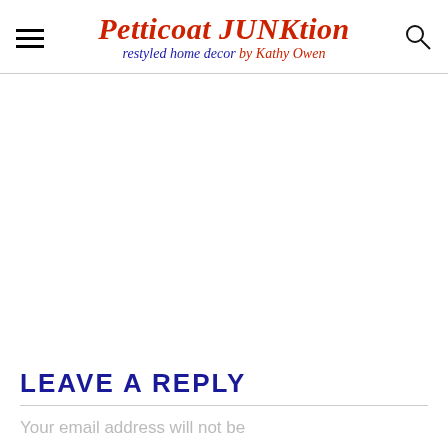Petticoat JUNKtion restyled home decor by Kathy Owen
LEAVE A REPLY
Your email address will not be